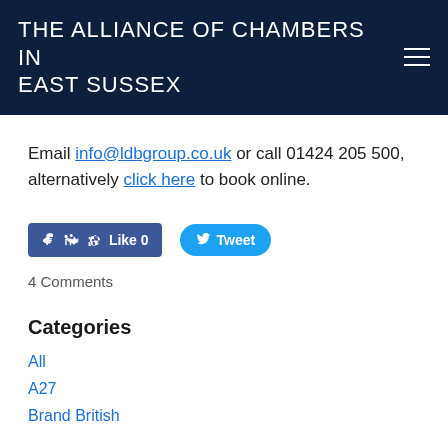THE ALLIANCE OF CHAMBERS IN EAST SUSSEX
Email info@ldbgroup.co.uk or call 01424 205 500, alternatively click here to book online.
[Figure (other): Facebook Like button showing 0 likes and a Twitter Tweet button]
4 Comments
Categories
All
A27
Brand British